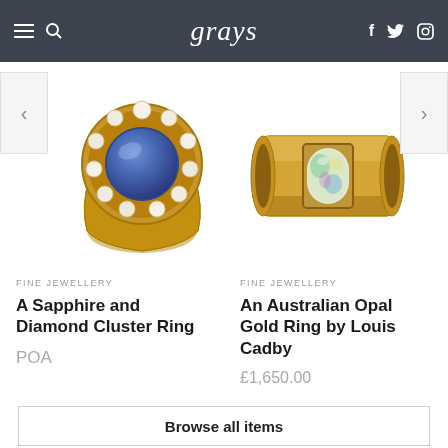grays
[Figure (photo): Antique gold sapphire and diamond cluster ring with blue center stone surrounded by pearls and small diamonds]
[Figure (photo): Modern wide gold band ring with oval opal stone set in rectangular bezel]
FINE JEWELLERY
A Sapphire and Diamond Cluster Ring
POA
FINE JEWELLERY
An Australian Opal Gold Ring by Louis Cadby
£1,650.00
Browse all items